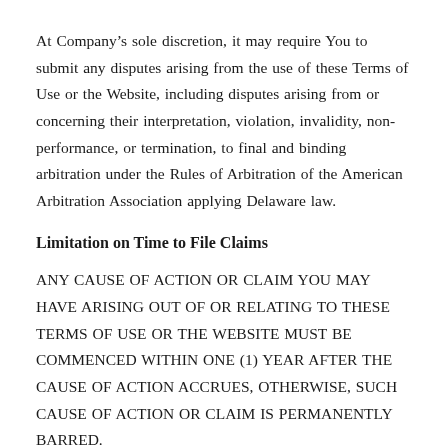At Company's sole discretion, it may require You to submit any disputes arising from the use of these Terms of Use or the Website, including disputes arising from or concerning their interpretation, violation, invalidity, non-performance, or termination, to final and binding arbitration under the Rules of Arbitration of the American Arbitration Association applying Delaware law.
Limitation on Time to File Claims
ANY CAUSE OF ACTION OR CLAIM YOU MAY HAVE ARISING OUT OF OR RELATING TO THESE TERMS OF USE OR THE WEBSITE MUST BE COMMENCED WITHIN ONE (1) YEAR AFTER THE CAUSE OF ACTION ACCRUES, OTHERWISE, SUCH CAUSE OF ACTION OR CLAIM IS PERMANENTLY BARRED.